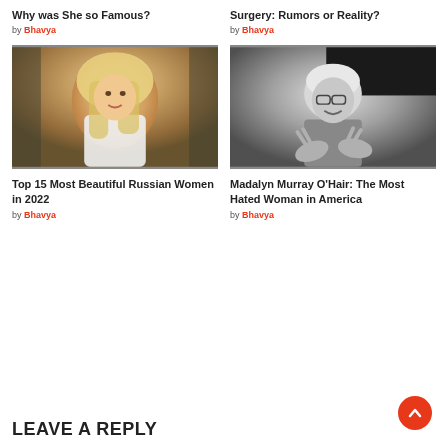Why was She so Famous?
by Bhavya
Surgery: Rumors or Reality?
by Bhavya
[Figure (photo): Blonde woman in white shirt posing in chair]
[Figure (photo): Black and white photo of Madalyn Murray O'Hair smiling with hands gesturing]
Top 15 Most Beautiful Russian Women in 2022
by Bhavya
Madalyn Murray O'Hair: The Most Hated Woman in America
by Bhavya
LEAVE A REPLY